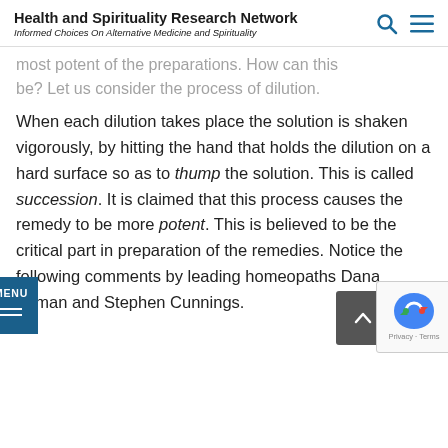Health and Spirituality Research Network
Informed Choices On Alternative Medicine and Spirituality
most potent of the preparations. How can this be?  Let us consider the process of dilution.
When each dilution takes place the solution is shaken vigorously, by hitting the hand that holds the dilution on a hard surface so as to thump the solution.  This is called succession.  It is claimed that this process causes the remedy to be more potent.  This is believed to be the critical part in preparation of the remedies.  Notice the following comments by leading homeopaths Dana Ullman and Stephen Cunnings.